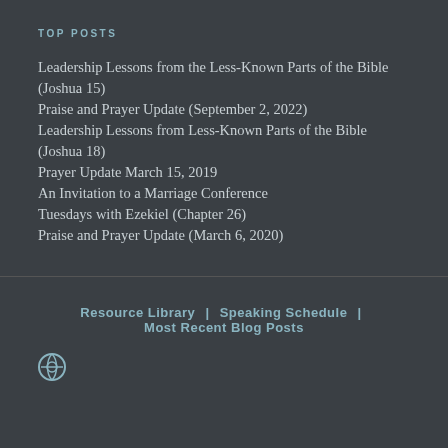TOP POSTS
Leadership Lessons from the Less-Known Parts of the Bible (Joshua 15)
Praise and Prayer Update (September 2, 2022)
Leadership Lessons from Less-Known Parts of the Bible (Joshua 18)
Prayer Update March 15, 2019
An Invitation to a Marriage Conference
Tuesdays with Ezekiel (Chapter 26)
Praise and Prayer Update (March 6, 2020)
Resource Library | Speaking Schedule | Most Recent Blog Posts